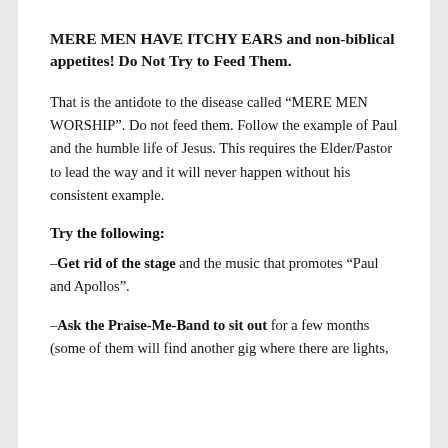MERE MEN HAVE ITCHY EARS and non-biblical appetites! Do Not Try to Feed Them.
That is the antidote to the disease called “MERE MEN WORSHIP”. Do not feed them. Follow the example of Paul and the humble life of Jesus. This requires the Elder/Pastor to lead the way and it will never happen without his consistent example.
Try the following:
–Get rid of the stage and the music that promotes “Paul and Apollos”.
–Ask the Praise-Me-Band to sit out for a few months (some of them will find another gig where there are lights,